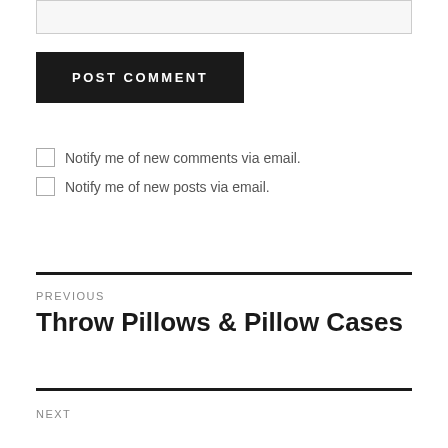[Figure (other): Empty input/textarea box with light gray background and border]
POST COMMENT
Notify me of new comments via email.
Notify me of new posts via email.
PREVIOUS
Throw Pillows & Pillow Cases
NEXT